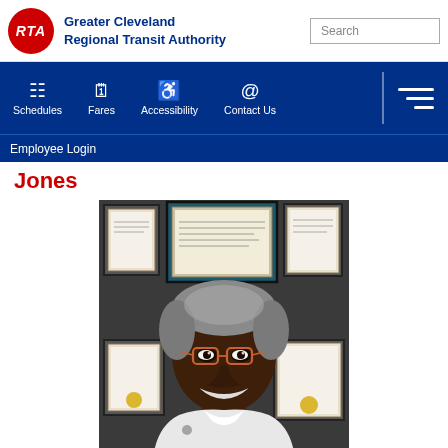Greater Cleveland Regional Transit Authority
Jones
[Figure (photo): Professional portrait photo of a smiling Black woman with short gray hair, wearing glasses and a white uniform jacket with a badge/pin, standing in front of a wall of framed certificates and diplomas.]